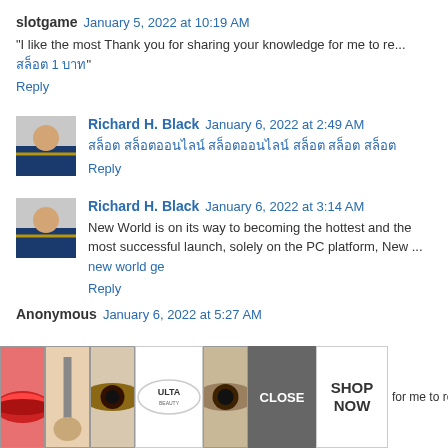slotgame  January 5, 2022 at 10:19 AM
"I like the most Thank you for sharing your knowledge for me to re... สล็อต 1 บาท"
Reply
Richard H. Black  January 6, 2022 at 2:49 AM
สล็อต สล็อตออนไลน์ สล็อตออนไลน์ สล็อต สล็อต สล็อต
Reply
Richard H. Black  January 6, 2022 at 3:14 AM
New World is on its way to becoming the hottest and the most successful launch, solely on the PC platform, New ... new world ge
Reply
Anonymous  January 6, 2022 at 5:27 AM
[Figure (screenshot): Advertisement banner for Ulta beauty with CLOSE button and SHOP NOW button, showing makeup product images]